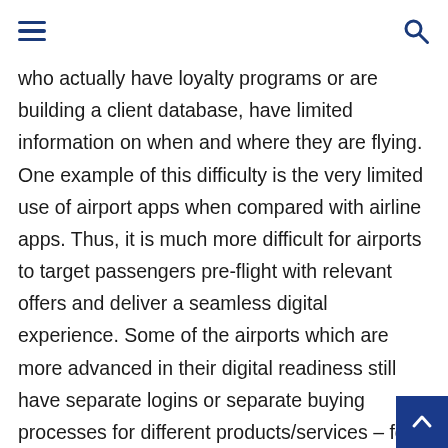[hamburger menu] [search icon]
who actually have loyalty programs or are building a client database, have limited information on when and where they are flying. One example of this difficulty is the very limited use of airport apps when compared with airline apps. Thus, it is much more difficult for airports to target passengers pre-flight with relevant offers and deliver a seamless digital experience. Some of the airports which are more advanced in their digital readiness still have separate logins or separate buying processes for different products/services – for example, if you book parking in the airport website and then you want to pre-order a duty-free item, most probably you will need to do 2 separate payment processes, or even 2 separate logins. Another still common experience is th